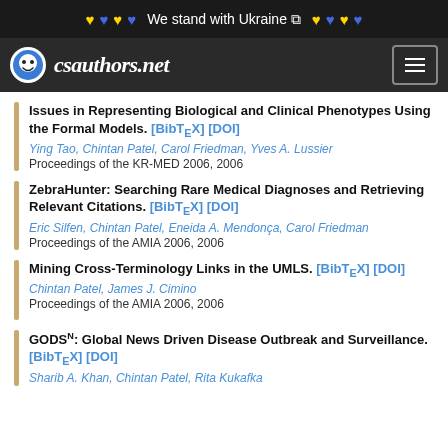We stand with Ukraine
[Figure (logo): csauthors.net logo with smiley face icon]
Issues in Representing Biological and Clinical Phenotypes Using the Formal Models. [BibTeX] [DOI]
Ying Tao, Chintan Patel, Carol Friedman, Yves A. Lussier
Proceedings of the KR-MED 2006, 2006
ZebraHunter: Searching Rare Medical Diagnoses and Retrieving Relevant Citations. [BibTeX] [DOI]
Eric Silfen, Chintan Patel, Eneida A. Mendonça, Carol Friedman
Proceedings of the AMIA 2006, 2006
Mining Cross-Terminology Links in the UMLS. [BibTeX] [DOI]
Chintan Patel, James J. Cimino
Proceedings of the AMIA 2006, 2006
GODSN: Global News Driven Disease Outbreak and Surveillance. [BibTeX] [DOI]
Sharib A. Khan, Chintan Patel, Rita Kukafka